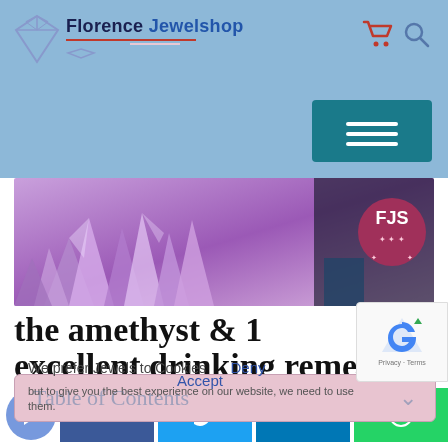Florence Jewelshop
[Figure (photo): Hero banner showing purple amethyst crystals with FJS logo badge on the right side]
the amethyst & 1 excellent drinking remedy
We prefer Jewels to Cookies
but to give you the best experience on our website, we need to use them.
Accept
Table of Contents
Deny